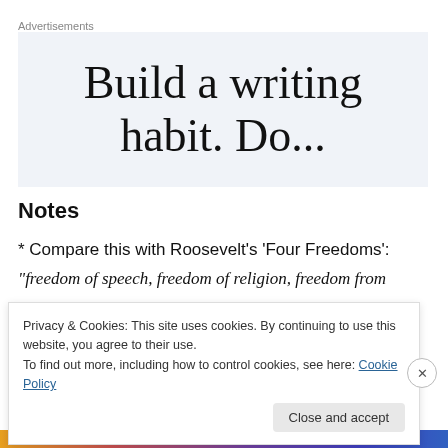Advertisements
[Figure (other): Advertisement banner showing text 'Build a writing' with second line partially visible, on a light blue-grey background]
Notes
* Compare this with Roosevelt’s ‘Four Freedoms’:
“freedom of speech, freedom of religion, freedom from
Privacy & Cookies: This site uses cookies. By continuing to use this website, you agree to their use.
To find out more, including how to control cookies, see here: Cookie Policy
Close and accept